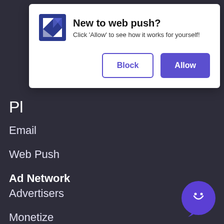[Figure (screenshot): Web push notification permission dialog with logo, title 'New to web push?', subtitle text, and Block/Allow buttons]
Pl
Email
Web Push
Ad Network
Advertisers
Monetize
Solutions
Affiliates
Employment Marketplace
News & Content